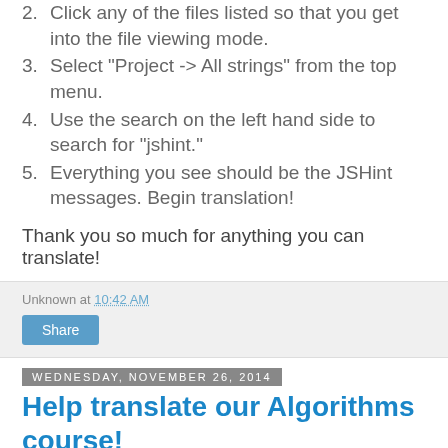2. Click any of the files listed so that you get into the file viewing mode.
3. Select "Project -> All strings" from the top menu.
4. Use the search on the left hand side to search for "jshint."
5. Everything you see should be the JSHint messages. Begin translation!
Thank you so much for anything you can translate!
Unknown at 10:42 AM
Share
Wednesday, November 26, 2014
Help translate our Algorithms course!
As we we recently announced, we are now teaching Algorithms on Khan Academy, thanks to a collaboration with two Dartmouth professors. We would love to have learners